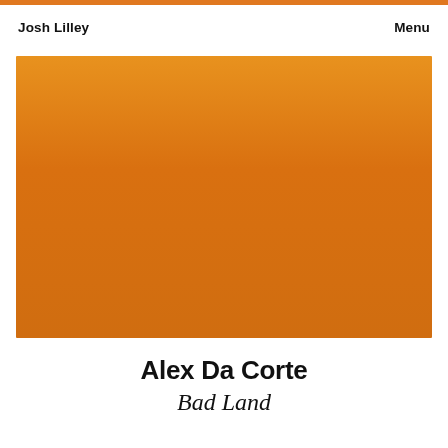Josh Lilley   Menu
[Figure (illustration): Large orange gradient rectangle filling the main image area of the page]
Alex Da Corte
Bad Land